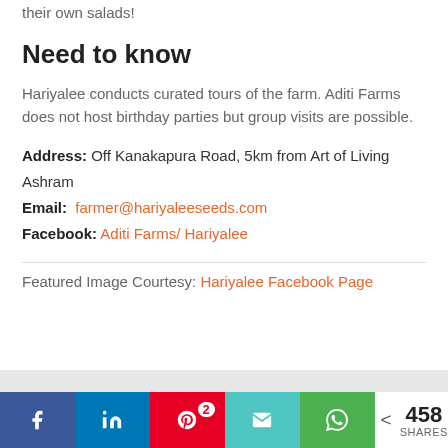their own salads!
Need to know
Hariyalee conducts curated tours of the farm. Aditi Farms does not host birthday parties but group visits are possible.
Address: Off Kanakapura Road, 5km from Art of Living Ashram
Email: farmer@hariyaleeseeds.com
Facebook: Aditi Farms/ Hariyalee
Featured Image Courtesy: Hariyalee Facebook Page
[Figure (infographic): Social share bar with Facebook, LinkedIn, Pinterest (2), Email, WhatsApp buttons and 458 SHARES count]